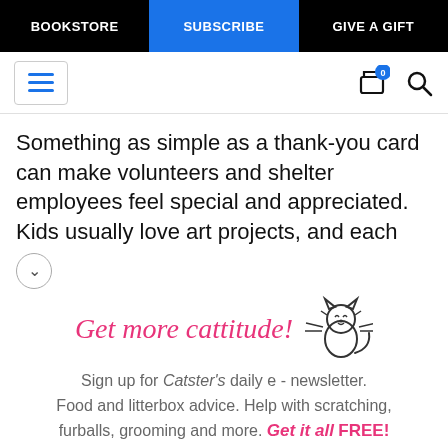BOOKSTORE | SUBSCRIBE | GIVE A GIFT
[Figure (screenshot): Website toolbar with hamburger menu icon, shopping cart with badge showing 0, and search icon]
Something as simple as a thank-you card can make volunteers and shelter employees feel special and appreciated. Kids usually love art projects, and each
[Figure (illustration): Cute cat illustration with whiskers and tail, line art style]
Get more cattitude!
Sign up for Catster's daily e - newsletter. Food and litterbox advice. Help with scratching, furballs, grooming and more. Get it all FREE!
Enter your Email
YES! SIGN ME UP